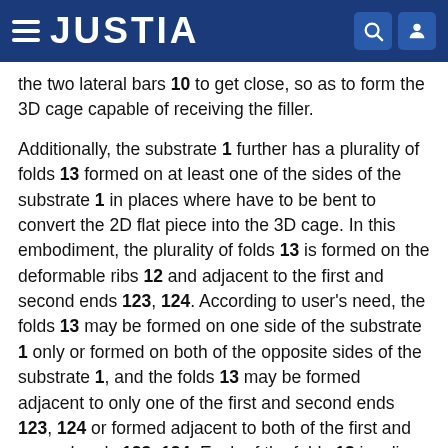JUSTIA
the two lateral bars 10 to get close, so as to form the 3D cage capable of receiving the filler.
Additionally, the substrate 1 further has a plurality of folds 13 formed on at least one of the sides of the substrate 1 in places where have to be bent to convert the 2D flat piece into the 3D cage. In this embodiment, the plurality of folds 13 is formed on the deformable ribs 12 and adjacent to the first and second ends 123, 124. According to user's need, the folds 13 may be formed on one side of the substrate 1 only or formed on both of the opposite sides of the substrate 1, and the folds 13 may be formed adjacent to only one of the first and second ends 123, 124 or formed adjacent to both of the first and second ends 123, 124. Each of the folds 13 is a line depression in the substrate 1, with the widths of the folds 13 in a range between 0.1-0.3 mm for the face of